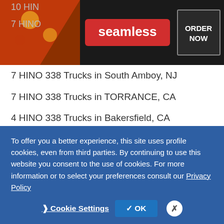[Figure (screenshot): Seamless food delivery advertisement banner with pizza image, red 'seamless' logo, and dark 'ORDER NOW' button on right]
10 HINO 338 Trucks in ... (partially visible)
7 HINO 338 Trucks in ... (partially visible)
7 HINO 338 Trucks in South Amboy, NJ
7 HINO 338 Trucks in TORRANCE, CA
4 HINO 338 Trucks in Bakersfield, CA
4 HINO 338 Trucks in Portland, OR
4 HINO 338 Trucks in Tampa, FL
3 HINO 338 Trucks in HOUSTON, TX
3 HINO 338 Trucks in Lodi, NJ
3 HINO 338 Trucks in Santa Fe Springs, CA
To offer you a better experience, this site uses profile cookies, even from third parties. By continuing to use this website you consent to the use of cookies. For more information or to select your preferences consult our Privacy Policy